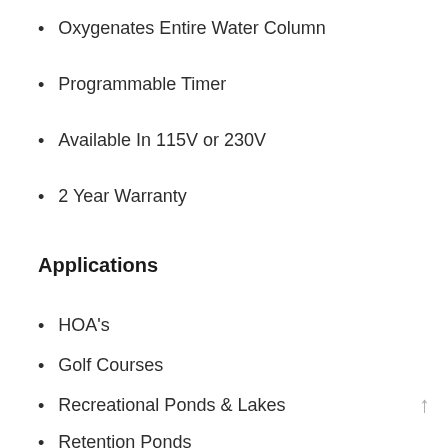Oxygenates Entire Water Column
Programmable Timer
Available In 115V or 230V
2 Year Warranty
Applications
HOA's
Golf Courses
Recreational Ponds & Lakes
Retention Ponds